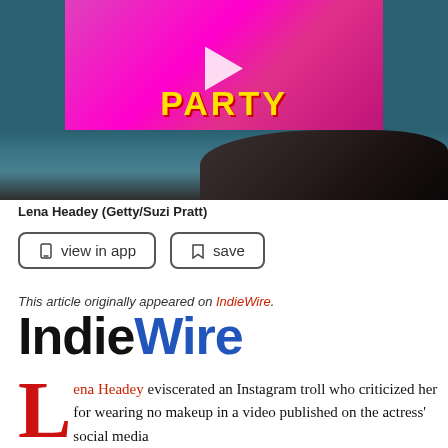[Figure (screenshot): Video thumbnail showing the word PARTY in yellow text on a magenta/pink background with a white play button, above a partial view of a dark-haired person against a teal background]
Lena Headey (Getty/Suzi Pratt)
view in app
save
This article originally appeared on IndieWire.
[Figure (logo): IndieWire logo in black and blue bold sans-serif text]
Lena Headey eviscerated an Instagram troll who criticized her for wearing no makeup in a video published on the actress' social media